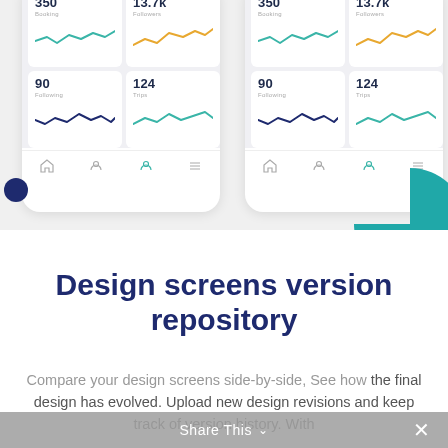[Figure (screenshot): Two mobile app UI screenshots side-by-side showing dashboard stat cards with sparkline charts. Each phone shows four cards: 350 (Booking), 13.7k (Followers), 90 (Following), 124 (Trips). Cards have teal, yellow, dark navy, and teal sparkline charts. A dark navy circle is left of the first phone, and a teal pie-like arc is to the right of the second phone.]
Design screens version repository
Compare your design screens side-by-side, See how the final design has evolved. Upload new design revisions and keep track of version history. With
Share This ∨  ×